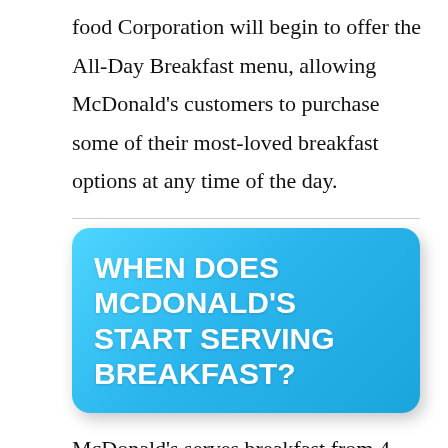food Corporation will begin to offer the All-Day Breakfast menu, allowing McDonald's customers to purchase some of their most-loved breakfast options at any time of the day.
WHEN DOES MCDONALD'S START SERVING BREAKFAST?
McDonald's serves breakfast from 4 a.m. according to the area. Some restaurants are open all hours and offer All-Day breakfast.